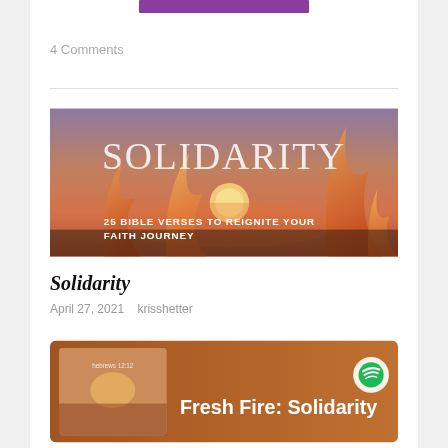[Figure (other): Purple button/bar at top of page]
4 Comments
[Figure (photo): Solidarity blog post banner image with orange/sunset fire background. Text: SOLIDARITY and 25 BIBLE VERSES TO REIGNITE YOUR FAITH JOURNEY]
Solidarity
April 27, 2021   krisshetter
[Figure (other): Fresh Fire: Solidarity podcast/Spotify banner with brown/orange background, Spotify logo, person photo thumbnail, and text 'Fresh Fire: Solidarity']